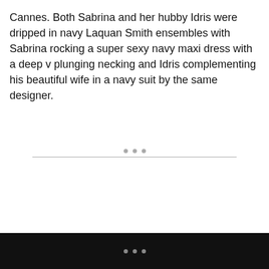Cannes. Both Sabrina and her hubby Idris were dripped in navy Laquan Smith ensembles with Sabrina rocking a super sexy navy maxi dress with a deep v plunging necking and Idris complementing his beautiful wife in a navy suit by the same designer.
[Figure (other): Three gray dots above a horizontal divider line, used as a section separator]
• • •